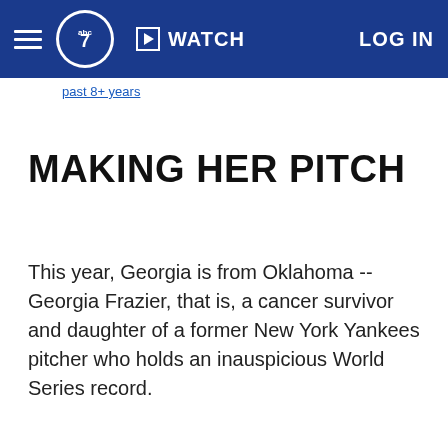ABC7 NY — WATCH | LOG IN
past 8+ years
MAKING HER PITCH
This year, Georgia is from Oklahoma -- Georgia Frazier, that is, a cancer survivor and daughter of a former New York Yankees pitcher who holds an inauspicious World Series record.